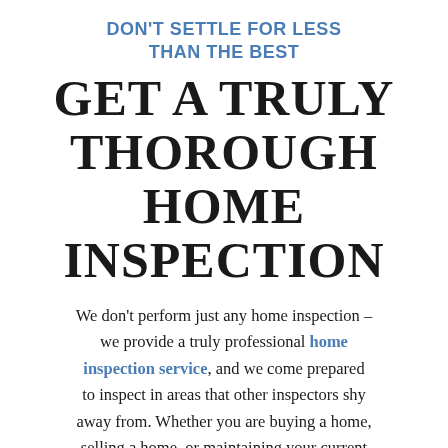DON'T SETTLE FOR LESS THAN THE BEST
GET A TRULY THOROUGH HOME INSPECTION
We don't perform just any home inspection – we provide a truly professional home inspection service, and we come prepared to inspect in areas that other inspectors shy away from. Whether you are buying a home, selling a home, or maintaining your current home, we have the right tools, knowledge, and experience to give you the best home